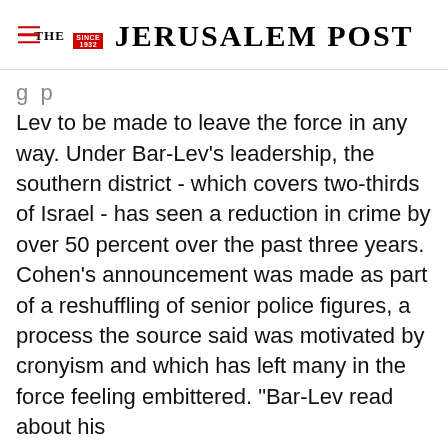The Jerusalem Post
g ... p Lev to be made to leave the force in any way. Under Bar-Lev's leadership, the southern district - which covers two-thirds of Israel - has seen a reduction in crime by over 50 percent over the past three years. Cohen's announcement was made as part of a reshuffling of senior police figures, a process the source said was motivated by cronyism and which has left many in the force feeling embittered. "Bar-Lev read about his
Advertisement